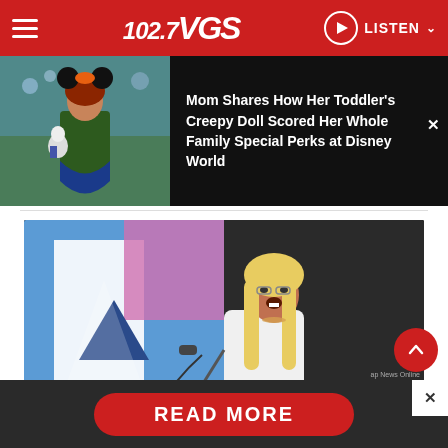102.7 VGS — LISTEN
[Figure (photo): Young girl wearing Minnie Mouse ears holding a creepy doll, dressed in blue and green outfits]
Mom Shares How Her Toddler's Creepy Doll Scored Her Whole Family Special Perks at Disney World
[Figure (photo): Woman with long blonde hair laughing on stage, wearing white outfit, standing at microphone with colorful background]
READ MORE